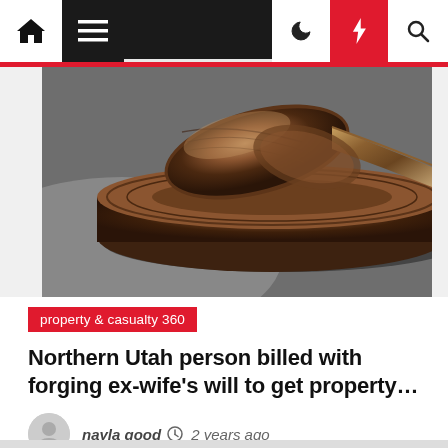Navigation bar with home, menu, moon, bolt, and search icons
[Figure (photo): Close-up photograph of a wooden judge's gavel resting on its sound block on a dark surface]
property & casualty 360
Northern Utah person billed with forging ex-wife's will to get property…
nayla good  ⏱ 2 years ago